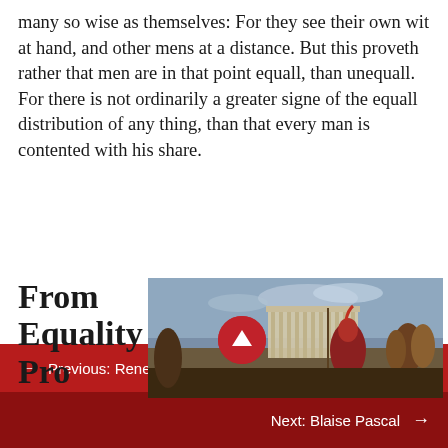many so wise as themselves: For they see their own wit at hand, and other mens at a distance. But this proveth rather that men are in that point equall, than unequall. For there is not ordinarily a greater signe of the equall distribution of any thing, than that every man is contented with his share.
From Equality Pro…
[Figure (photo): Classical painting showing ancient Greek or Roman scene with soldiers in armor, architectural ruins including what appears to be the Acropolis, and figures in the background against a cloudy blue sky.]
← Previous: Rene Descartes
Next: Blaise Pascal →